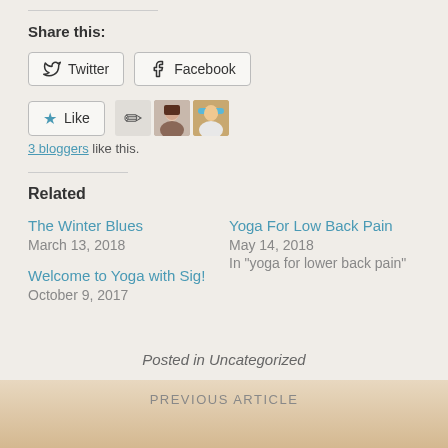Share this:
Twitter  Facebook
[Figure (other): Like button with star icon and three blogger avatars]
3 bloggers like this.
Related
The Winter Blues
March 13, 2018
Yoga For Low Back Pain
May 14, 2018
In "yoga for lower back pain"
Welcome to Yoga with Sig!
October 9, 2017
Posted in Uncategorized
PREVIOUS ARTICLE